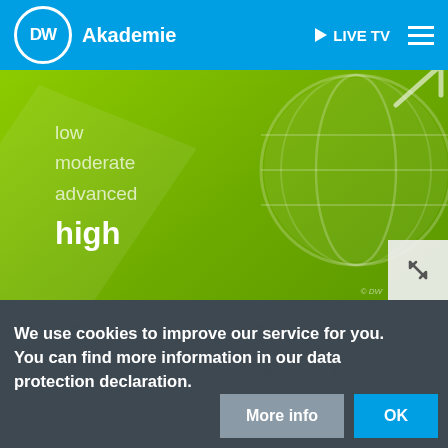DW Akademie — LIVE TV
[Figure (screenshot): DW Akademie website hero image with green/lime gradient background showing internet connectivity levels: low, moderate, advanced, high, with a globe/network icon on the right side]
We use cookies to improve our service for you. You can find more information in our data protection declaration.
With price for access among the lowest in the world, internet is affordable for most Ukrainians. However, usage depends on age. Over 80 percent [of those under the] age of 45 are online.